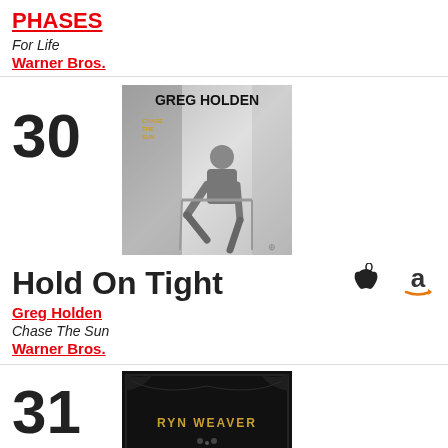PHASES
For Life
Warner Bros.
30
[Figure (photo): Album cover for Greg Holden - Chase The Sun. Black and white photo of man sitting, with Greg Holden name at top and Chase The Sun subtitle in gold.]
Hold On Tight
[Figure (logo): Apple Music logo (apple shape) and Amazon logo (a with arrow)]
Greg Holden
Chase The Sun
Warner Bros.
31
[Figure (photo): Dark album cover with RYN WEAVER text in gold/yellow on black background with ornate border design.]